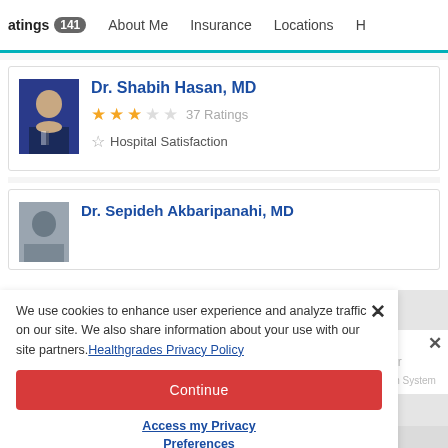atings 141  About Me  Insurance  Locations
[Figure (photo): Profile photo of Dr. Shabih Hasan, MD - man in suit with blue background]
Dr. Shabih Hasan, MD
★★★☆☆ 37 Ratings
☆ Hospital Satisfaction
[Figure (photo): Profile photo of Dr. Sepideh Akbaripanahi, MD - silhouette placeholder]
Dr. Sepideh Akbaripanahi, MD
We use cookies to enhance user experience and analyze traffic on our site. We also share information about your use with our site partners. Healthgrades Privacy Policy
Continue
Access my Privacy Preferences
on ital Center ginia Health System
These providers are on the medical staff of Reston Hospital Cente...